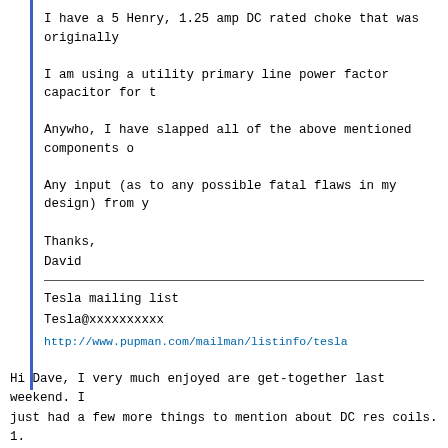I have a 5 Henry, 1.25 amp DC rated choke that was originally
I am using a utility primary line power factor capacitor for t
Anywho, I have slapped all of the above mentioned components o
Any input (as to any possible fatal flaws in my design) from y
Thanks,
David
Tesla mailing list
Tesla@xxxxxxxxxx
http://www.pupman.com/mailman/listinfo/tesla
Hi Dave, I very much enjoyed are get-together last weekend. I just had a few more things to mention about DC res coils. 1. The Charging Choke, in my experience the inductance isn't to critical but it has to withstand a lot of high voltage abuse just like a pole transformer dose in an AC coil system. I wound my choke by hand and applied many layers of packaging